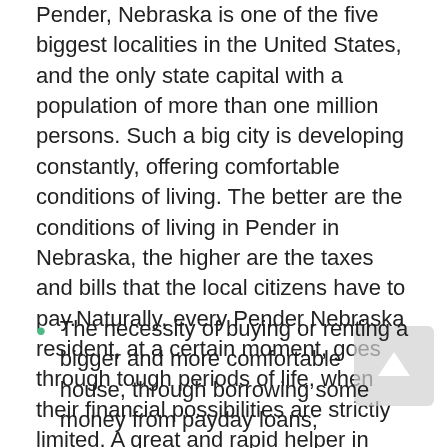Pender, Nebraska is one of the five biggest localities in the United States, and the only state capital with a population of more than one million persons. Such a big city is developing constantly, offering comfortable conditions of living. The better are the conditions of living in Pender in Nebraska, the higher are the taxes and bills that the local citizens have to pay.Naturally, every Pender Nebraska resident, at a certain moment, goes through tough periods of life, when their financial possibilities are strictly limited. A great and rapid helper in these problems solving process are the payday loans. It is an excellent way of achieving the required money support, in case of the appearance of unexpected expenses, like:
The necessity of buying or renting a bigger and more comfortable house, through borrowing some money from payday loans;
an unexpected medical bill;
The need of buying a new car, to move around Pender